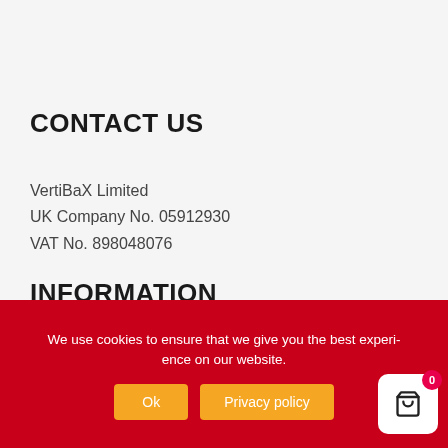CONTACT US
VertiBaX Limited
UK Company No. 05912930
VAT No. 898048076
INFORMATION
We use cookies to ensure that we give you the best experience on our website.